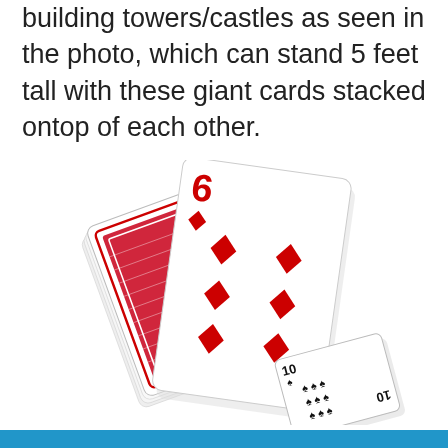building towers/castles as seen in the photo, which can stand 5 feet tall with these giant cards stacked ontop of each other.
[Figure (photo): A deck of playing cards fanned out showing card backs with red decorative pattern, a large six of diamonds card face-up in front, and a small ten of spades card lying face-up to the bottom right.]